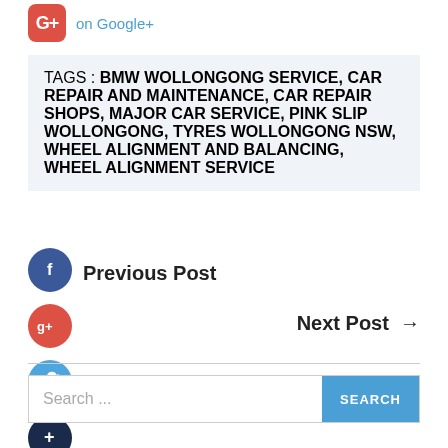[Figure (logo): Google+ share button icon (salmon/red rounded square with G+ text) and 'on Google+' link text in blue]
TAGS : BMW WOLLONGONG SERVICE, CAR REPAIR AND MAINTENANCE, CAR REPAIR SHOPS, MAJOR CAR SERVICE, PINK SLIP WOLLONGONG, TYRES WOLLONGONG NSW, WHEEL ALIGNMENT AND BALANCING, WHEEL ALIGNMENT SERVICE
Previous Post
Next Post →
[Figure (other): Social sharing icons: Facebook (blue circle with f), Google+ (red circle with g+), Twitter (light blue circle with bird)]